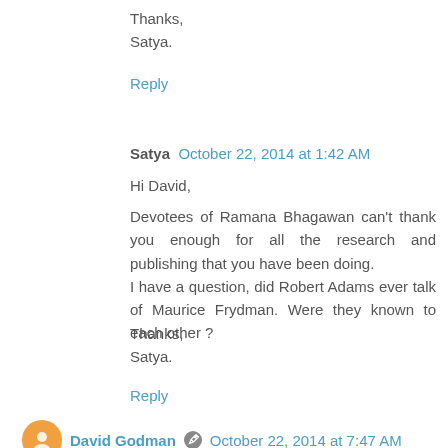Thanks,
Satya.
Reply
Satya  October 22, 2014 at 1:42 AM
Hi David,
Devotees of Ramana Bhagawan can't thank you enough for all the research and publishing that you have been doing.
I have a question, did Robert Adams ever talk of Maurice Frydman. Were they known to each other ?
Thanks,
Satya.
Reply
David Godman  October 22, 2014 at 7:47 AM